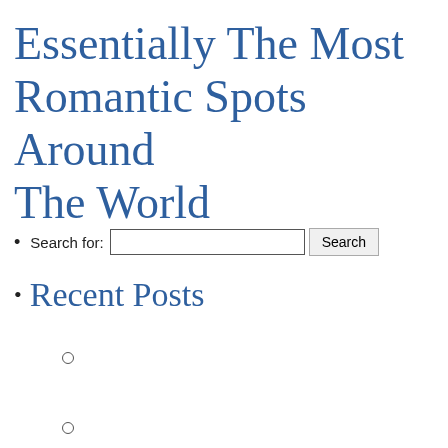Essentially The Most Romantic Spots Around The World
Search for: [search box] Search
Recent Posts